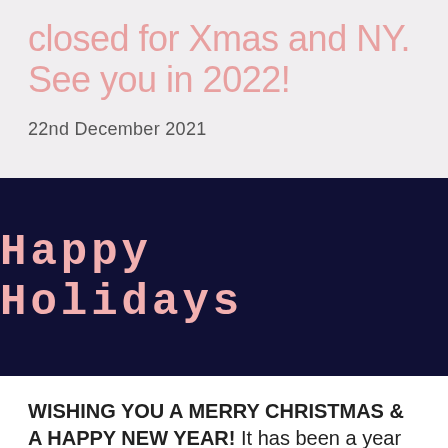closed for Xmas and NY. See you in 2022!
22nd December 2021
[Figure (illustration): Dark navy background banner with pixel-style text reading 'Happy Holidays' in pink/salmon color]
WISHING YOU A MERRY CHRISTMAS & A HAPPY NEW YEAR! It has been a year like no other and we are pulling down the shutters